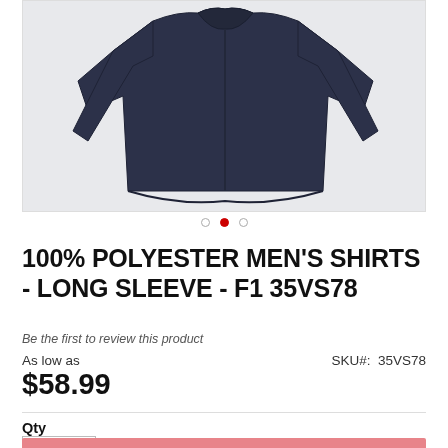[Figure (photo): Dark navy blue men's long sleeve shirt laid flat, showing collar and sleeves spread out, on a light gray background]
• • •
100% POLYESTER MEN'S SHIRTS - LONG SLEEVE - F1 35VS78
Be the first to review this product
As low as
SKU#:  35VS78
$58.99
Qty
1